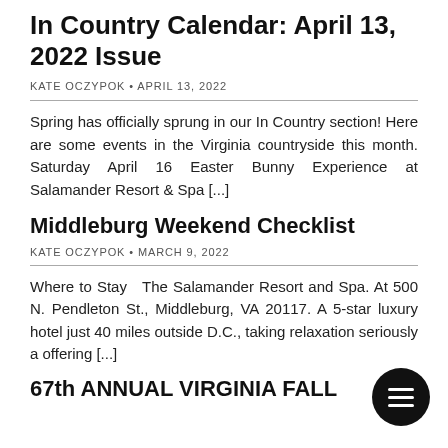In Country Calendar: April 13, 2022 Issue
KATE OCZYPOK • APRIL 13, 2022
Spring has officially sprung in our In Country section! Here are some events in the Virginia countryside this month. Saturday April 16 Easter Bunny Experience at Salamander Resort & Spa [...]
Middleburg Weekend Checklist
KATE OCZYPOK • MARCH 9, 2022
Where to Stay  The Salamander Resort and Spa. At 500 N. Pendleton St., Middleburg, VA 20117. A 5-star luxury hotel just 40 miles outside D.C., taking relaxation seriously and offering [...]
67th ANNUAL VIRGINIA FALL